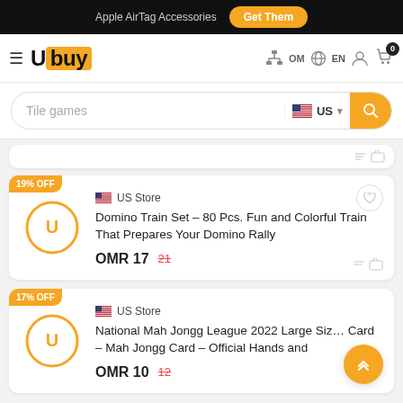Apple AirTag Accessories  Get Them
[Figure (logo): Ubuy logo with orange background on the U]
Tile games  US
19% OFF  US Store  Domino Train Set - 80 Pcs. Fun and Colorful Train That Prepares Your Domino Rally  OMR 17  21
17% OFF  US Store  National Mah Jongg League 2022 Large Size Card - Mah Jongg Card - Official Hands and  OMR 10  12